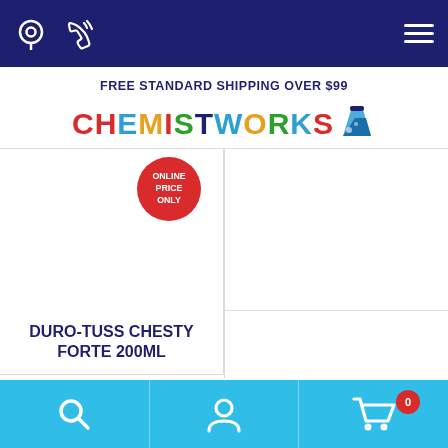ChemistWorks navigation bar with location, phone icons and hamburger menu
FREE STANDARD SHIPPING OVER $99
[Figure (logo): CHEMISTWORKS logo with colorful letters and flask icon]
[Figure (screenshot): Product card with ONLINE PRICE ONLY red circular badge and white product image area]
DURO-TUSS CHESTY FORTE 200ML
Bottom navigation bar with search, account, and cart (0) icons